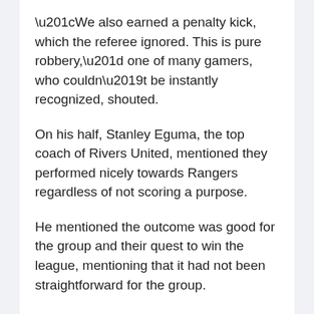“We also earned a penalty kick, which the referee ignored. This is pure robbery,” one of many gamers, who couldn’t be instantly recognized, shouted.
On his half, Stanley Eguma, the top coach of Rivers United, mentioned they performed nicely towards Rangers regardless of not scoring a purpose.
He mentioned the outcome was good for the group and their quest to win the league, mentioning that it had not been straightforward for the group.
He mentioned he wouldn’t touch upon the officiating because it was the prerogative of